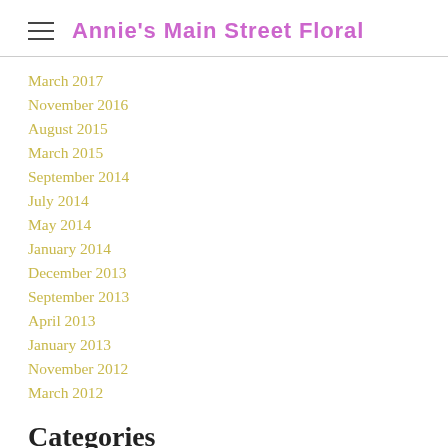Annie's Main Street Floral
March 2017
November 2016
August 2015
March 2015
September 2014
July 2014
May 2014
January 2014
December 2013
September 2013
April 2013
January 2013
November 2012
March 2012
Categories
All